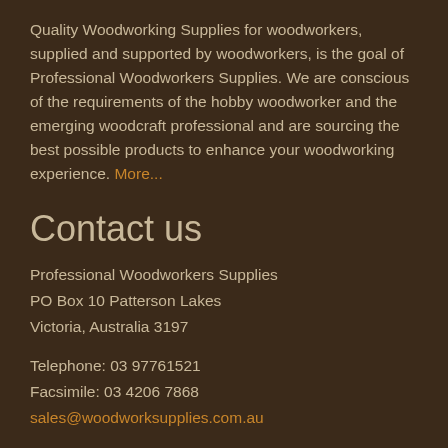Quality Woodworking Supplies for woodworkers, supplied and supported by woodworkers, is the goal of Professional Woodworkers Supplies. We are conscious of the requirements of the hobby woodworker and the emerging woodcraft professional and are sourcing the best possible products to enhance your woodworking experience. More...
Contact us
Professional Woodworkers Supplies
PO Box 10 Patterson Lakes
Victoria, Australia 3197
Telephone: 03 97761521
Facsimile: 03 4206 7868
sales@woodworksupplies.com.au
Newsletter
To receive special offers and keep up with the latest industry news,